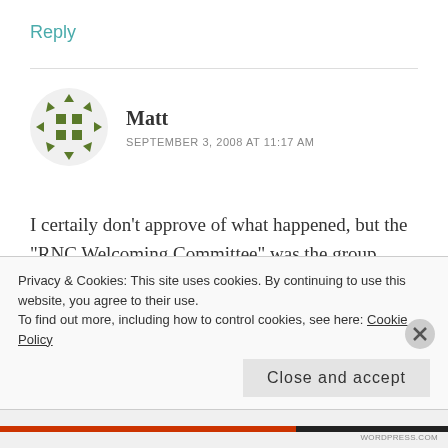Reply
Matt
SEPTEMBER 3, 2008 AT 11:17 AM
I certaily don't approve of what happened, but the "RNC Welcoming Committee" was the group responsible for the 20-30 people who threw bricks through windows of innocent businesses in downtown st paul, and lit on fire and threw those
Privacy & Cookies: This site uses cookies. By continuing to use this website, you agree to their use.
To find out more, including how to control cookies, see here: Cookie Policy
Close and accept